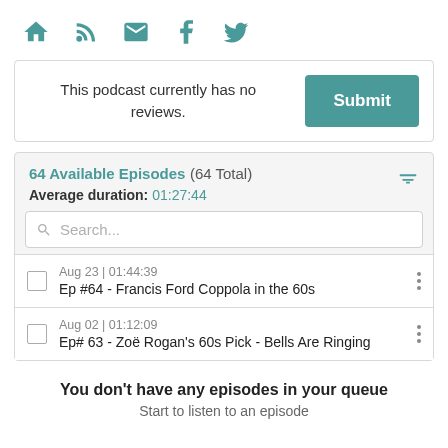[Figure (other): Navigation icon bar with home, RSS feed, email, Facebook, and Twitter icons in teal color]
This podcast currently has no reviews.
Submit
64 Available Episodes (64 Total)
Average duration: 01:27:44
Search...
Aug 23 | 01:44:39
Ep #64 - Francis Ford Coppola in the 60s
Aug 02 | 01:12:09
Ep# 63 - Zoë Rogan's 60s Pick - Bells Are Ringing
You don't have any episodes in your queue
Start to listen to an episode